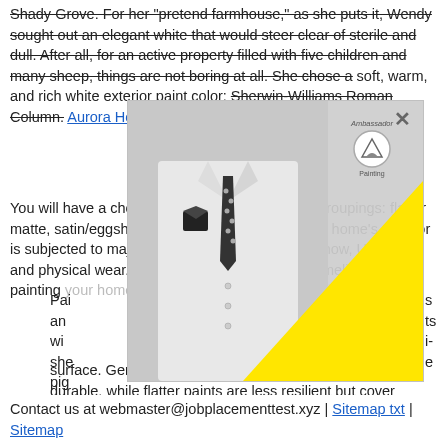Shady Grove. For her "pretend farmhouse," as she puts it, Wendy sought out an elegant white that would steer clear of sterile and dull. After all, for an active property filled with five children and many sheep, things are not boring at all. She chose a soft, warm, and rich white exterior paint color: Sherwin-Williams Roman Column. Aurora Home Painting
You will have a choice of four basic paint sheen groupings: flat or matte, satin/eggshell, semi-gloss, and gloss. Your home's exterior is subjected to major stresses that include rain, snow, UV rays, and physical wear. All of that is considered and timeline for painting and exterior paint finish
[Figure (photo): A popup/modal overlay with an X close button, showing a grayscale photo of a man in a white shirt with a polka-dot tie and pocket square, with a yellow triangle covering the lower-right portion. A logo for Ambassador Painting is in the upper right of the popup.]
Paints and pigments with semi-gloss and gloss sheen reflect light and are more durable, while flatter paints are less resilient but cover better. Home Painter Aurora Colorado
Contact us at webmaster@jobplacementtest.xyz | Sitemap txt | Sitemap